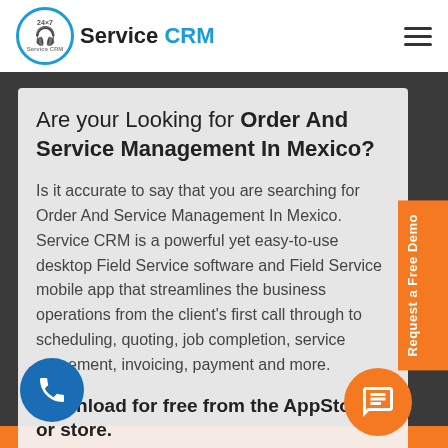Service CRM
Are your Looking for Order And Service Management In Mexico?
Is it accurate to say that you are searching for Order And Service Management In Mexico. Service CRM is a powerful yet easy-to-use desktop Field Service software and Field Service mobile app that streamlines the business operations from the client's first call through to scheduling, quoting, job completion, service agreement, invoicing, payment and more.
Download for free from the AppStore or store.